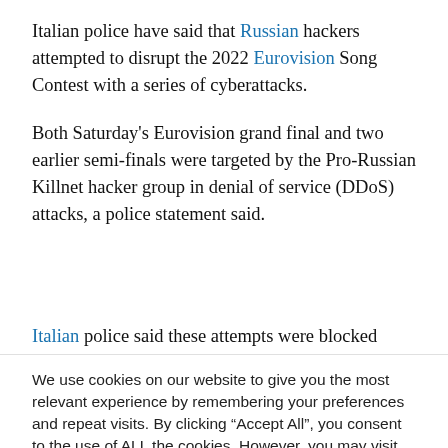Italian police have said that Russian hackers attempted to disrupt the 2022 Eurovision Song Contest with a series of cyberattacks.
Both Saturday's Eurovision grand final and two earlier semi-finals were targeted by the Pro-Russian Killnet hacker group in denial of service (DDoS) attacks, a police statement said.
Italian police said these attempts were blocked
We use cookies on our website to give you the most relevant experience by remembering your preferences and repeat visits. By clicking “Accept All”, you consent to the use of ALL the cookies. However, you may visit “Cookie Settings” to provide a controlled consent.